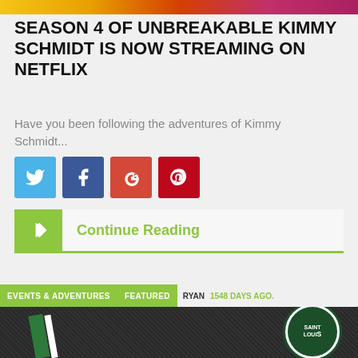[Figure (photo): Top colored gradient banner image strip]
SEASON 4 OF UNBREAKABLE KIMMY SCHMIDT IS NOW STREAMING ON NETFLIX
Have you been following the adventures of Kimmy Schmidt...
[Figure (infographic): Social share buttons: Twitter, Facebook, Google+, Pinterest]
Continue Reading
EVENTS & ADVENTURES  FEATURED  RYAN  1548 DAYS AGO.
[Figure (photo): Dark fabric/jersey with Saint Louis FC badge visible]